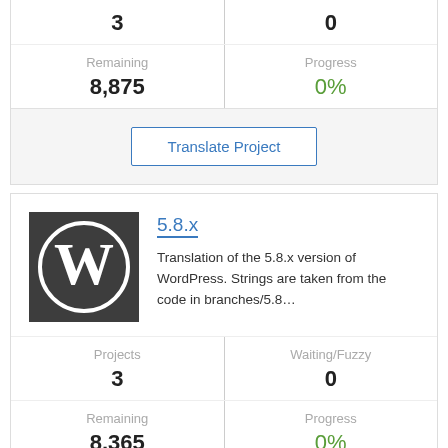| Remaining | Progress |
| --- | --- |
| 8,875 | 0% |
Translate Project
5.8.x
Translation of the 5.8.x version of WordPress. Strings are taken from the code in branches/5.8…
| Projects | Waiting/Fuzzy |
| --- | --- |
| 3 | 0 |
| Remaining | Progress |
| --- | --- |
| 8,365 | 0% |